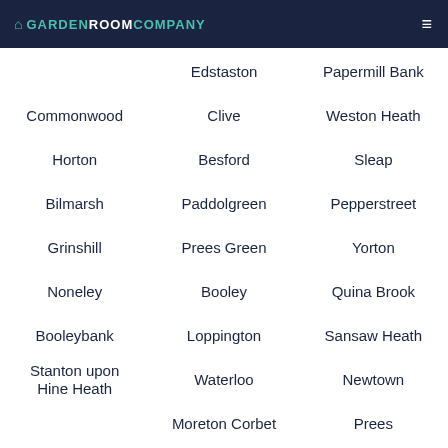Garden Room Company
Edstaston
Papermill Bank
Commonwood
Clive
Weston Heath
Horton
Besford
Sleap
Bilmarsh
Paddolgreen
Pepperstreet
Grinshill
Prees Green
Yorton
Noneley
Booley
Quina Brook
Booleybank
Loppington
Sansaw Heath
Stanton upon Hine Heath
Waterloo
Newtown
Moreton Corbet
Prees